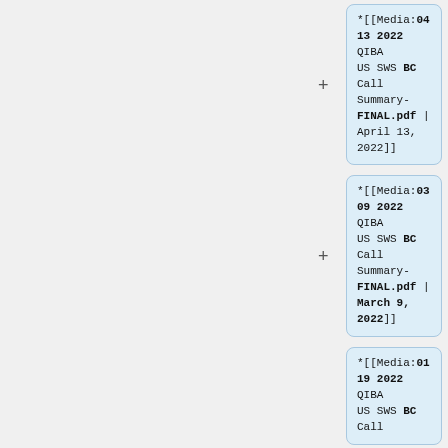*[[Media:04 13 2022 QIBA US SWS BC Call Summary-FINAL.pdf | April 13, 2022]]
*[[Media:03 09 2022 QIBA US SWS BC Call Summary-FINAL.pdf | March 9, 2022]]
*[[Media:01 19 2022 QIBA US SWS BC Call